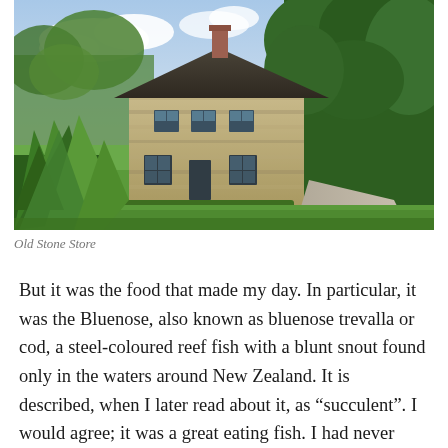[Figure (photo): Photograph of the Old Stone Store – a two-storey stone building with a dark thatched/pitched roof and a brick chimney, surrounded by lush green trees and garden. Green tropical plants are in the foreground on the left, and a gravel path leads to the right.]
Old Stone Store
But it was the food that made my day. In particular, it was the Bluenose, also known as bluenose trevalla or cod, a steel-coloured reef fish with a blunt snout found only in the waters around New Zealand. It is described, when I later read about it, as “succulent”. I would agree; it was a great eating fish. I had never